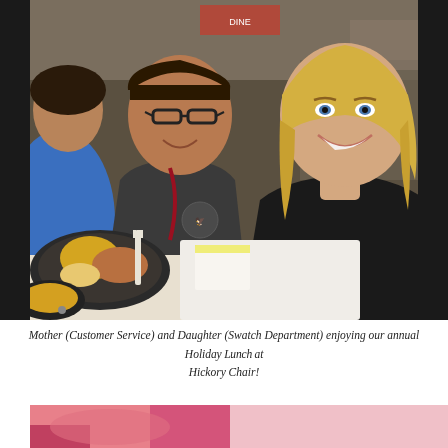[Figure (photo): Two women smiling at the camera while seated at a table during a holiday lunch event. The woman on the left wears glasses and a dark shirt with a lanyard; the woman on the right has blonde hair and wears a black top. Food plates are visible on the table in the foreground. A third person in blue is partially visible on the left edge.]
Mother (Customer Service) and Daughter (Swatch Department) enjoying our annual Holiday Lunch at Hickory Chair!
[Figure (photo): Partially visible photo at the bottom of the page showing pink and white tones, cropped.]